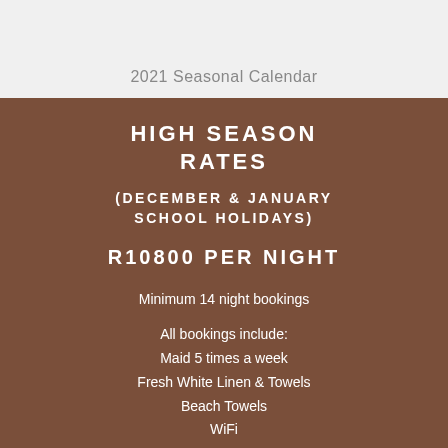2021 Seasonal Calendar
HIGH SEASON RATES
(DECEMBER & JANUARY SCHOOL HOLIDAYS)
R10800 PER NIGHT
Minimum 14 night bookings
All bookings include:
Maid 5 times a week
Fresh White Linen & Towels
Beach Towels
WiFi
DSTV
Welcome Basket